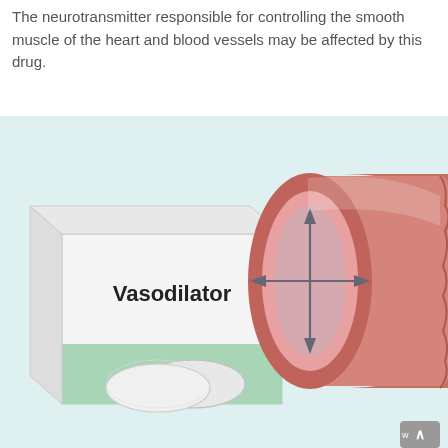The neurotransmitter responsible for controlling the smooth muscle of the heart and blood vessels may be affected by this drug.
[Figure (illustration): Illustration showing a vasodilator medication box with two white pills in front of it on the left, and a cross-sectional view of a dilated blood vessel with arrows pointing in four directions on the right. The background is light teal/cyan.]